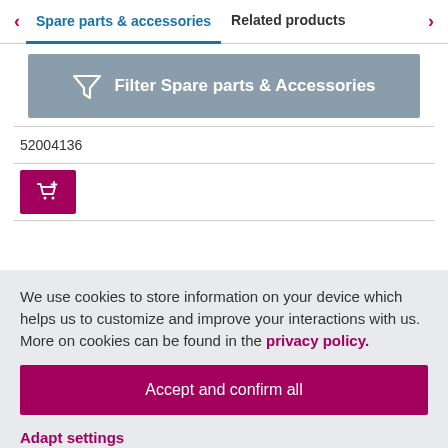Spare parts & accessories | Related products
[Figure (other): Filter Spare parts & Accessories button with funnel icon on grey background]
| 52004136 |
|  |
We use cookies to store information on your device which helps us to customize and improve your interactions with us. More on cookies can be found in the privacy policy.
Accept and confirm all
Adapt settings